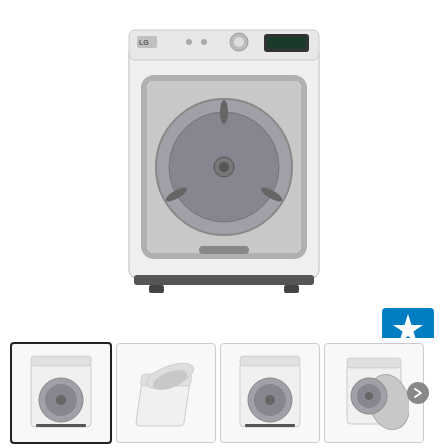[Figure (photo): Large white LG top-load dryer with silver circular door window and control panel on top, shown on white background]
[Figure (logo): Energy Star certification logo - blue square with white star and 'ENERGY STAR' text]
[Figure (photo): Thumbnail 1 (selected): Front view of white LG dryer - same as main image]
[Figure (photo): Thumbnail 2: Angled top view of white LG dryer showing open lid]
[Figure (photo): Thumbnail 3: Front view of white LG dryer similar to main]
[Figure (photo): Thumbnail 4: Close-up of dryer drum interior with door open]